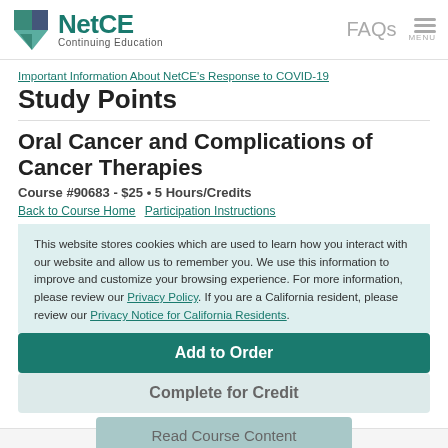NetCE Continuing Education — FAQs MENU
Important Information About NetCE's Response to COVID-19
Study Points
Oral Cancer and Complications of Cancer Therapies
Course #90683 - $25 • 5 Hours/Credits
Back to Course Home   Participation Instructions
This website stores cookies which are used to learn how you interact with our website and allow us to remember you. We use this information to improve and customize your browsing experience. For more information, please review our Privacy Policy. If you are a California resident, please review our Privacy Notice for California Residents.
Add to Order
Complete for Credit
Accept
Read Course Content